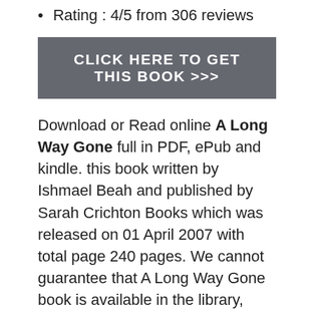Rating : 4/5 from 306 reviews
[Figure (other): Dark grey button with text: CLICK HERE TO GET THIS BOOK >>>]
Download or Read online A Long Way Gone full in PDF, ePub and kindle. this book written by Ishmael Beah and published by Sarah Crichton Books which was released on 01 April 2007 with total page 240 pages. We cannot guarantee that A Long Way Gone book is available in the library, click Get Book button and read full online book in your kindle, tablet, IPAD, PC or mobile whenever and wherever You Like. In A Long Way Gone Ishmael Beah tells a riveting story in his own words: how, at the age of twelve, he fled